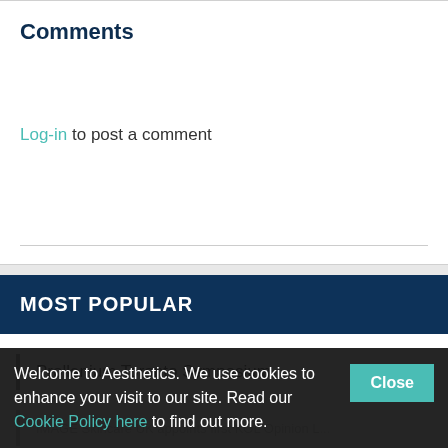Comments
Log-in to post a comment
MOST POPULAR
Prollenium Toronto Symposium
IMAGE Skincare UK appoints first KOL Opinion Leaders; MAGE partnership aims to strengthen evidence-based surgery regulation
Welcome to Aesthetics. We use cookies to enhance your visit to our site. Read our Cookie Policy here to find out more.